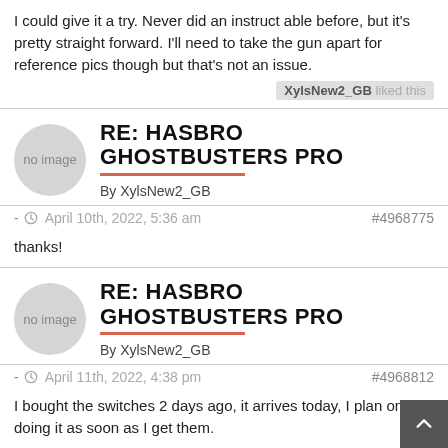I could give it a try. Never did an instruct able before, but it's pretty straight forward. I'll need to take the gun apart for reference pics though but that's not an issue.
XylsNew2_GB liked this
RE: HASBRO GHOSTBUSTERS PRO
By XylsNew2_GB
- April 10th, 2022, 5:36 am   #4968775
thanks!
RE: HASBRO GHOSTBUSTERS PRO
By XylsNew2_GB
- April 11th, 2022, 4:38 pm   #4968812
I bought the switches 2 days ago, it arrives today, I plan on doing it as soon as I get them.